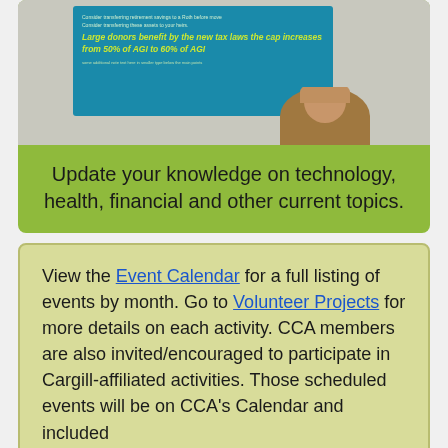[Figure (photo): Photo of a presenter standing in front of a blue presentation slide. The slide shows text about tax law changes including 'Large donors benefit by the new tax laws the cap increases from 50% of AGI to 60% of AGI' and mentions considering transferring retirement savings.]
Update your knowledge on technology, health, financial and other current topics.
View the Event Calendar for a full listing of events by month. Go to Volunteer Projects for more details on each activity. CCA members are also invited/encouraged to participate in Cargill-affiliated activities. Those scheduled events will be on CCA's Calendar and included